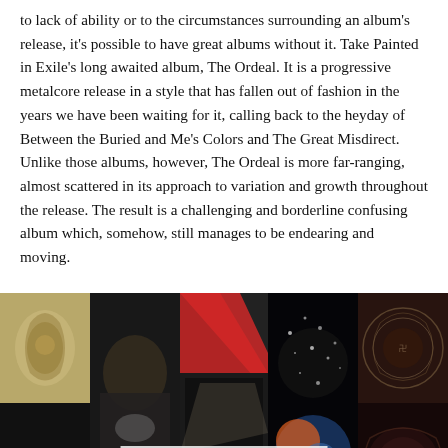to lack of ability or to the circumstances surrounding an album's release, it's possible to have great albums without it. Take Painted in Exile's long awaited album, The Ordeal. It is a progressive metalcore release in a style that has fallen out of fashion in the years we have been waiting for it, calling back to the heyday of Between the Buried and Me's Colors and The Great Misdirect. Unlike those albums, however, The Ordeal is more far-ranging, almost scattered in its approach to variation and growth throughout the release. The result is a challenging and borderline confusing album which, somehow, still manages to be endearing and moving.
[Figure (photo): A mosaic of album covers forming an Editors' Picks banner for October 2016, featuring artwork from various albums arranged in a grid, with a semi-transparent overlay reading 'EDITORS' PICKS / OCTOBER 2016' and a Heavy Blog Is Heavy logo.]